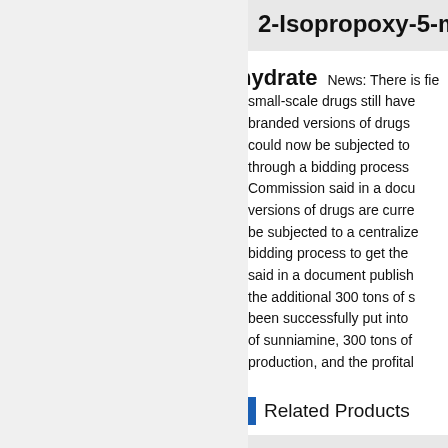2-Isopropoxy-5-m...
hydrate
News: There is fie... small-scale drugs still have... branded versions of drugs... could now be subjected to... through a bidding process... Commission said in a docu... versions of drugs are curre... be subjected to a centralize... bidding process to get the... said in a document publish... the additional 300 tons of s... been successfully put into... of sunniamine, 300 tons of... production, and the profital...
Related Products